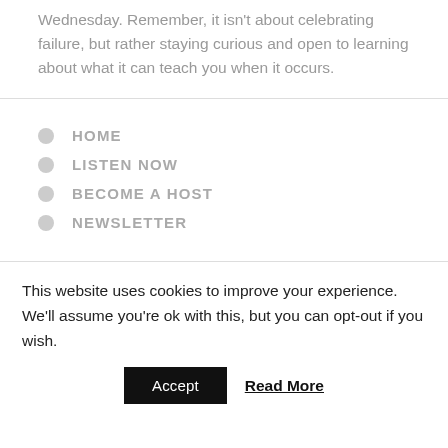Wednesday. Remember, it isn't about celebrating failure, but rather staying curious and open to learning about what it can teach you when it occurs.
HOME
LISTEN NOW
BECOME A HOST
NEWSLETTER
This website uses cookies to improve your experience. We'll assume you're ok with this, but you can opt-out if you wish.
Accept   Read More